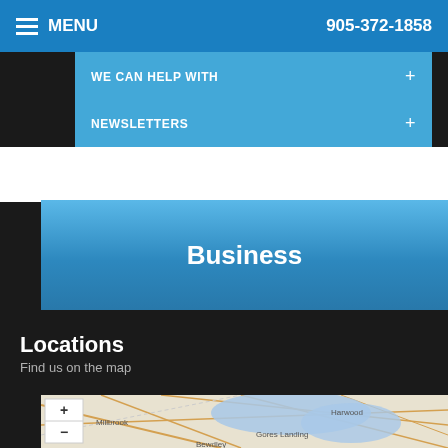MENU   905-372-1858
WE CAN HELP WITH  +
NEWSLETTERS  +
Business
Locations
Find us on the map
[Figure (map): Street map showing Millbrook, Harwood, Gores Landing, Bewdley area with zoom controls (+/-)]